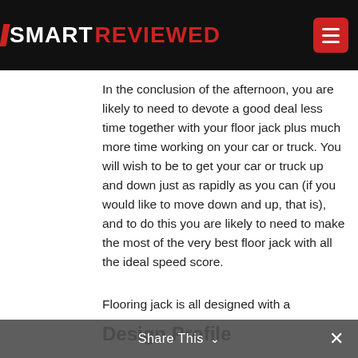SMART REVIEWED
In the conclusion of the afternoon, you are likely to need to devote a good deal less time together with your floor jack plus much more time working on your car or truck. You will wish to be to get your car or truck up and down just as rapidly as you can (if you would like to move down and up, that is), and to do this you are likely to need to make the most of the very best floor jack with all the ideal speed score.
Design Profile
Flooring jack is all designed with a
Share This